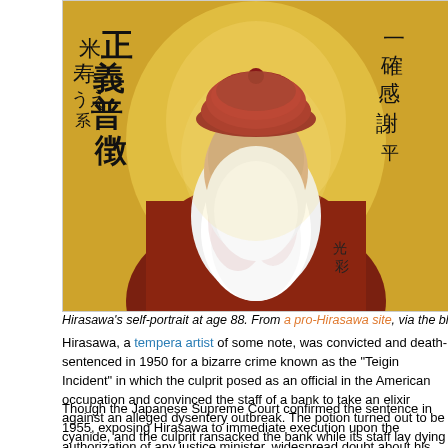[Figure (illustration): Painting of Hirasawa's self-portrait at age 88, showing an elderly man with a long white beard, round glasses, and a dark red beret, seated in a dark robe against a golden background with Japanese calligraphy on left and right sides.]
Hirasawa's self-portrait at age 88. From a pro-Hirasawa site, via the blog hmmm
Hirasawa, a tempera artist of some note, was convicted and death-sentenced in 1950 for a bizarre crime known as the "Teigin Incident" in which the culprit posed as an official in the American occupation and convinced the staff of a bank to take an elixir against an alleged dysentery outbreak. The potion turned out to be cyanide, and the culprit ransacked the bank while its staff lay dying around him.
Though the Japanese Supreme Court confirmed the sentence in 1955, exposing Hirasawa to immediate execution upon the authorization of any justice minister, widespread doubt about his guilt made the case a hot potato from the start. Time magazine reported authorities hoping that he'd be conveniently killed by poor prison conditions instead of hanging — in 1963.